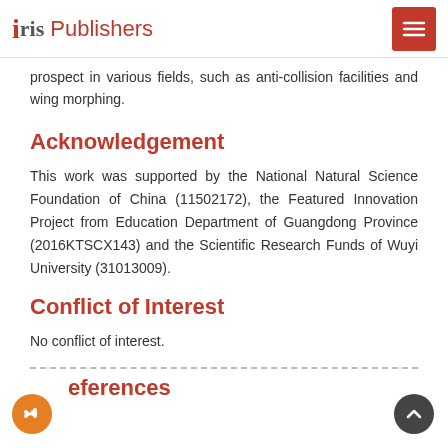Iris Publishers
prospect in various fields, such as anti-collision facilities and wing morphing.
Acknowledgement
This work was supported by the National Natural Science Foundation of China (11502172), the Featured Innovation Project from Education Department of Guangdong Province (2016KTSCX143) and the Scientific Research Funds of Wuyi University (31013009).
Conflict of Interest
No conflict of interest.
References